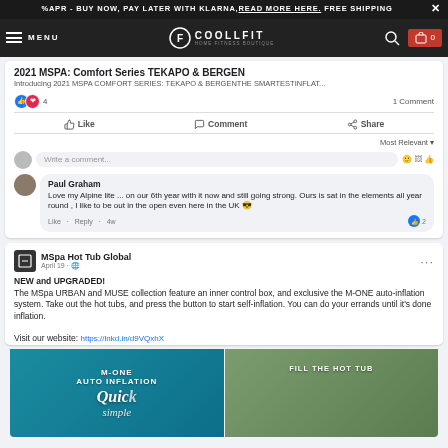%APR - BUY NOW, PAY LATER WITH KLARNA, READ MORE HERE. FREE SHIPPING
[Figure (screenshot): CoolFit website navigation bar with menu, logo, search and cart icons]
2021 MSPA: Comfort Series TEKAPO & BERGEN
Introducing 2021 MSPA COMFORT SERIES: TEKAPO & BERGENTHE SMARTESTINFLAT...
👍❤️ 4   1 Comment
Like   Comment   Share
Most Relevant ▾
Write a comment...
Paul Graham
Love my Alpine lite ... on our 6th year with it now and still going strong. Ours is sat in the elements all year round , I like to be out in the open even here in the UK 😎
Like · Reply · 4w   👍 2
MSpa Hot Tub Global
April 19 · 🌐
NEW and UPGRADED!
The MSpa URBAN and MUSE collection feature an inner control box, and exclusive the M-ONE auto-inflation system. Take out the hot tubs, and press the button to start self-inflation. You can do your errands until it's done inflation.

Visit our website: https://lnkd.in/d9VQxhX
[Figure (photo): Two promotional images: left shows M-ONE AUTO INFLATION with Quick text and woman, right shows FILL THE HOT TUB with outdoor scene]